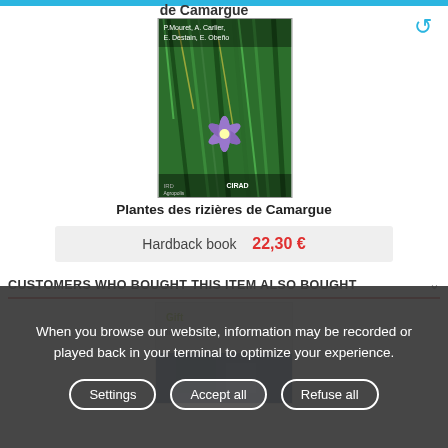de Camargue
[Figure (photo): Book cover of 'Plantes des rizières de Camargue' showing a purple star-shaped flower among green grass/reeds. Authors listed on cover, CIRAD publisher logo visible at bottom.]
Plantes des rizières de Camargue
Hardback book  22,30 €
CUSTOMERS WHO BOUGHT THIS ITEM ALSO BOUGHT
[Figure (photo): Partially visible book cover, second book in 'also bought' section, with orange/green title text and subtitle 'Infrastructures']
When you browse our website, information may be recorded or played back in your terminal to optimize your experience.